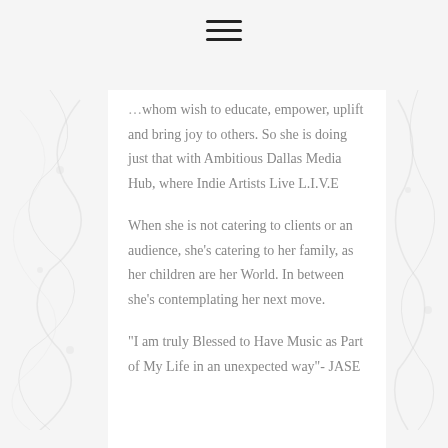☰
whom wish to educate, empower, uplift and bring joy to others. So she is doing just that with Ambitious Dallas Media Hub, where Indie Artists Live L.I.V.E
When she is not catering to clients or an audience, she's catering to her family, as her children are her World. In between she's contemplating her next move.
“I am truly Blessed to Have Music as Part of My Life in an unexpected way”- JASE